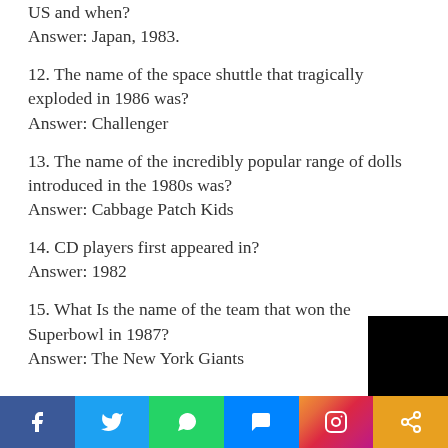US and when?
Answer: Japan, 1983.
12. The name of the space shuttle that tragically exploded in 1986 was?
Answer: Challenger
13. The name of the incredibly popular range of dolls introduced in the 1980s was?
Answer: Cabbage Patch Kids
14. CD players first appeared in?
Answer: 1982
15. What Is the name of the team that won the Superbowl in 1987?
Answer: The New York Giants